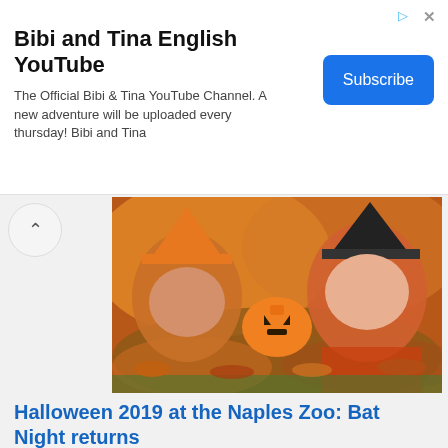[Figure (other): Advertisement banner for Bibi and Tina English YouTube channel with Subscribe button]
Bibi and Tina English YouTube
The Official Bibi & Tina YouTube Channel. A new adventure will be uploaded every thursday! Bibi and Tina
[Figure (photo): Two children in Halloween costumes (orange witch hat and black witch hat) lying in autumn leaves with a jack-o-lantern pumpkin between them]
Halloween 2019 at the Naples Zoo: Bat Night returns
lloween 2019 in Naples is spent in the company of the zoo animals: night visits, workshops